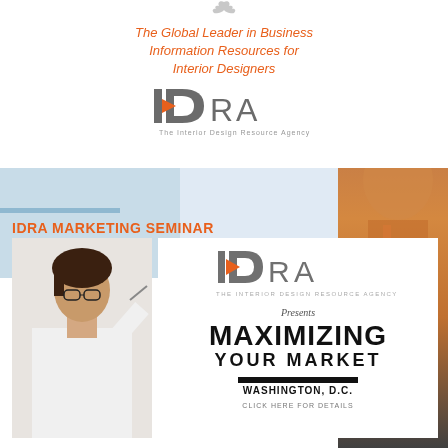[Figure (logo): Small bird/feather icon at top center]
The Global Leader in Business Information Resources for Interior Designers
[Figure (logo): IDRA - The Interior Design Resource Agency logo (top, smaller version)]
[Figure (photo): Background strip with office/business imagery]
IDRA MARKETING SEMINAR
[Figure (photo): Woman in white shirt holding glasses/pen]
[Figure (logo): IDRA - THE INTERIOR DESIGN RESOURCE AGENCY logo (larger version in seminar panel)]
Presents
MAXIMIZING YOUR MARKET
WASHINGTON, D.C.
CLICK HERE FOR DETAILS